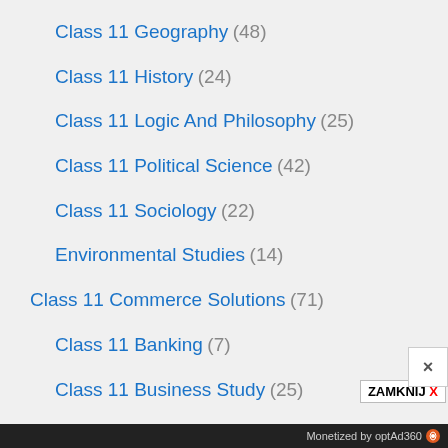Class 11 Geography (48)
Class 11 History (24)
Class 11 Logic And Philosophy (25)
Class 11 Political Science (42)
Class 11 Sociology (22)
Environmental Studies (14)
Class 11 Commerce Solutions (71)
Class 11 Banking (7)
Class 11 Business Study (25)
Monetized by optAd360